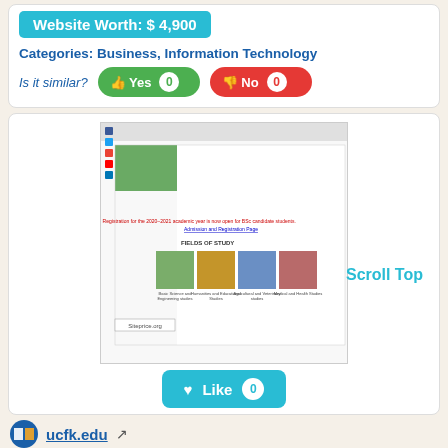Website Worth: $ 4,900
Categories: Business, Information Technology
Is it similar? Yes 0  No 0
[Figure (screenshot): Screenshot of ucfk.edu university website showing fields of study with images and a Siteprice.org watermark]
Scroll Top
Like 0
ucfk.edu